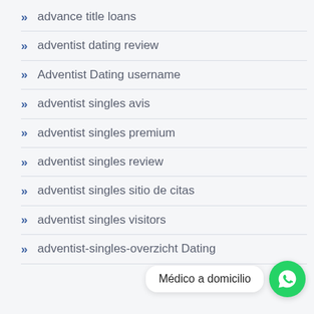advance title loans
adventist dating review
Adventist Dating username
adventist singles avis
adventist singles premium
adventist singles review
adventist singles sitio de citas
adventist singles visitors
adventist-singles-overzicht Dating
[Figure (illustration): WhatsApp chat bubble with text 'Médico a domicilio' and green WhatsApp icon button]